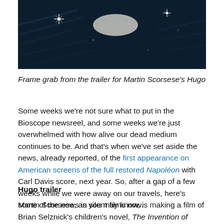[Figure (photo): Frame grab from the trailer for Martin Scorsese's Hugo — dark scene with sparkles/lights and a bird-like shape against a dark blue-tinted background]
Frame grab from the trailer for Martin Scorsese's Hugo
Some weeks we're not sure what to put in the Bioscope newsreel, and some weeks we're just overwhelmed with how alive our dead medium continues to be. And that's when we've set aside the news, already reported, of the first appearance on American screens of the full restored Napoléon with Carl Davis score, next year. So, after a gap of a few weeks while we were away on our travels, here's some of the news in silent films now.
Hugo trailer
Martin Scorsese, as you may know, is making a film of Brian Selznick's children's novel, The Invention of Hugh